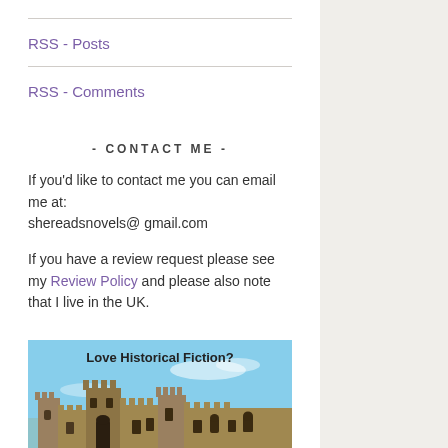RSS - Posts
RSS - Comments
- CONTACT ME -
If you'd like to contact me you can email me at: shereadsnovels@ gmail.com
If you have a review request please see my Review Policy and please also note that I live in the UK.
[Figure (photo): A medieval stone castle with towers under a blue sky, with text 'Love Historical Fiction?' overlaid at the top.]